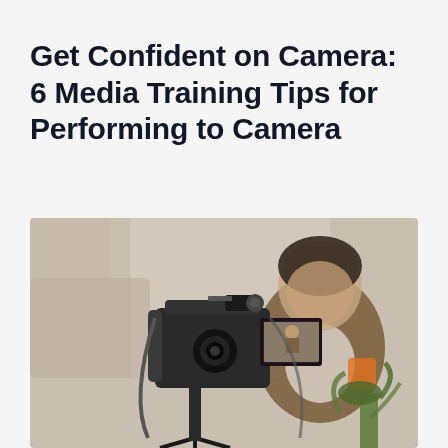Get Confident on Camera: 6 Media Training Tips for Performing to Camera
[Figure (photo): A DSLR camera on a tripod in the foreground showing its LCD screen, with a blurred person sitting in the background holding a cup, in a home/studio setting with a plant visible]